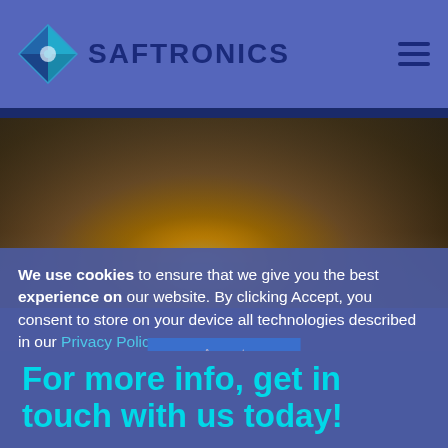[Figure (logo): Saftronics logo with diamond/arrow icon in blue and teal colors and company name text]
[Figure (photo): Close-up blurred photo of illuminated light bulbs with warm yellow glowing filaments against dark background]
We use cookies to ensure that we give you the best experience on our website. By clicking Accept, you consent to store on your device all technologies described in our Privacy Policy.
For more info, get in touch with us today!